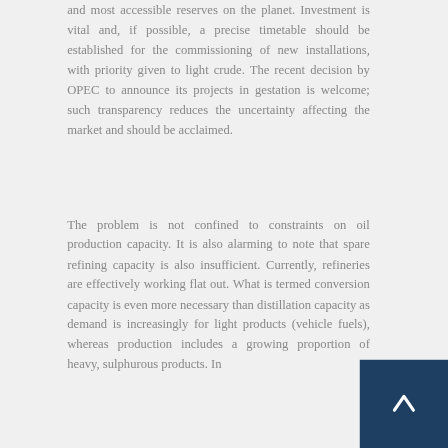and most accessible reserves on the planet. Investment is vital and, if possible, a precise timetable should be established for the commissioning of new installations, with priority given to light crude. The recent decision by OPEC to announce its projects in gestation is welcome; such transparency reduces the uncertainty affecting the market and should be acclaimed.
The problem is not confined to constraints on oil production capacity. It is also alarming to note that spare refining capacity is also insufficient. Currently, refineries are effectively working flat out. What is termed conversion capacity is even more necessary than distillation capacity as demand is increasingly for light products (vehicle fuels), whereas production includes a growing proportion of heavy, sulphurous products. In